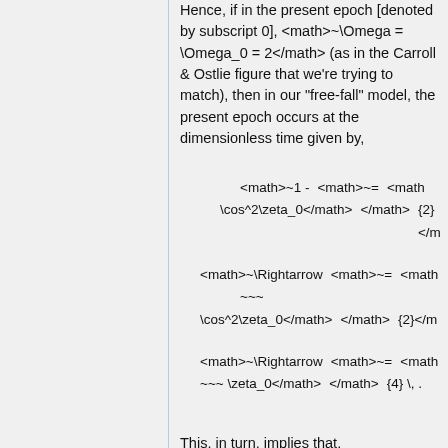Hence, if in the present epoch [denoted by subscript 0], ~\Omega = \Omega_0 = 2 (as in the Carroll & Ostlie figure that we're trying to match), then in our "free-fall" model, the present epoch occurs at the dimensionless time given by,
This, in turn, implies that,